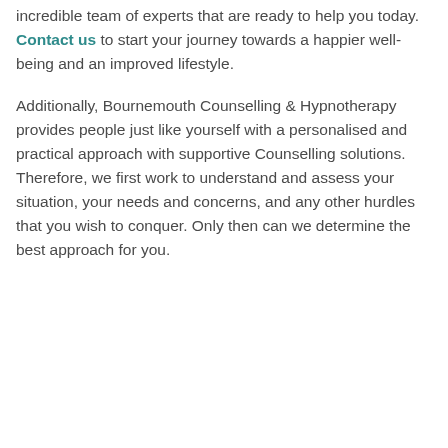incredible team of experts that are ready to help you today. Contact us to start your journey towards a happier well-being and an improved lifestyle.
Additionally, Bournemouth Counselling & Hypnotherapy provides people just like yourself with a personalised and practical approach with supportive Counselling solutions. Therefore, we first work to understand and assess your situation, your needs and concerns, and any other hurdles that you wish to conquer. Only then can we determine the best approach for you.